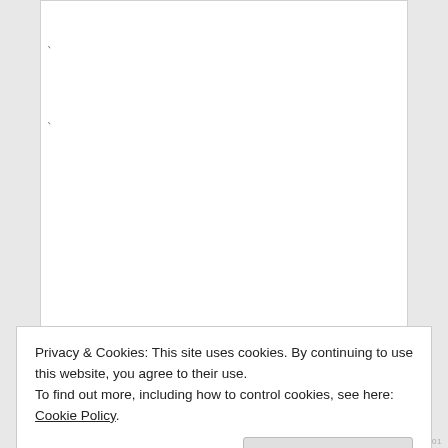[Figure (other): White card area with two small tick marks on the left side, mostly blank content area]
CommonSenseTom 3:54 am on April 30, 2021
Privacy & Cookies: This site uses cookies. By continuing to use this website, you agree to their use.
To find out more, including how to control cookies, see here: Cookie Policy
Close and accept